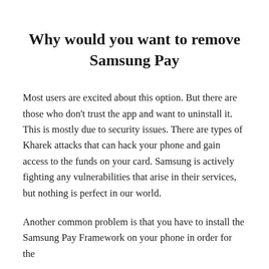Why would you want to remove Samsung Pay
Most users are excited about this option. But there are those who don't trust the app and want to uninstall it. This is mostly due to security issues. There are types of Kharek attacks that can hack your phone and gain access to the funds on your card. Samsung is actively fighting any vulnerabilities that arise in their services, but nothing is perfect in our world.
Another common problem is that you have to install the Samsung Pay Framework on your phone in order for the